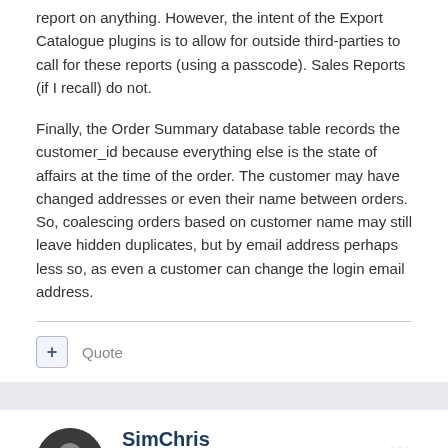report on anything. However, the intent of the Export Catalogue plugins is to allow for outside third-parties to call for these reports (using a passcode). Sales Reports (if I recall) do not.
Finally, the Order Summary database table records the customer_id because everything else is the state of affairs at the time of the order. The customer may have changed addresses or even their name between orders. So, coalescing orders based on customer name may still leave hidden duplicates, but by email address perhaps less so, as even a customer can change the login email address.
SimChris
Posted August 29, 2015
Hi, well, newsletters doesn't work for us to export customers as it doesn't have the full customer record, and we did not "auto